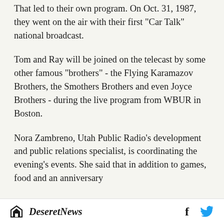That led to their own program. On Oct. 31, 1987, they went on the air with their first "Car Talk" national broadcast.
Tom and Ray will be joined on the telecast by some other famous "brothers" - the Flying Karamazov Brothers, the Smothers Brothers and even Joyce Brothers - during the live program from WBUR in Boston.
Nora Zambreno, Utah Public Radio's development and public relations specialist, is coordinating the evening's events. She said that in addition to games, food and an anniversary
Deseret News  f  [Twitter bird]